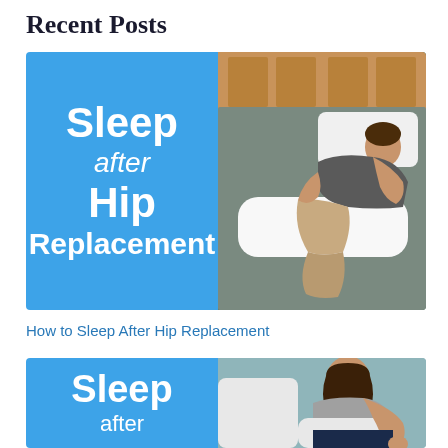Recent Posts
[Figure (illustration): Blog post thumbnail image showing a person lying on a bed with a pillow between their knees. Left half is blue with bold white text reading 'Sleep after Hip Replacement'. Right half shows a photo of a woman lying on a grey bed in a recovery position with pillows.]
How to Sleep After Hip Replacement
[Figure (illustration): Second blog post thumbnail. Left half is blue with bold white text reading 'Sleep after'. Right half shows a photo of a woman sitting up in bed looking tired, with pillows around her.]